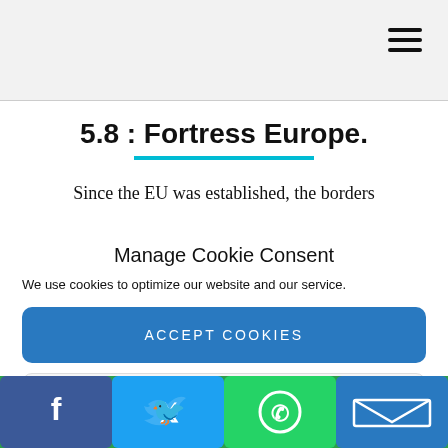5.8 : Fortress Europe.
Since the EU was established, the borders
Manage Cookie Consent
We use cookies to optimize our website and our service.
ACCEPT COOKIES
DENY
VIEW PREFERENCES
[Figure (infographic): Social media share bar with Facebook, Twitter, WhatsApp, and email icons on a green background]